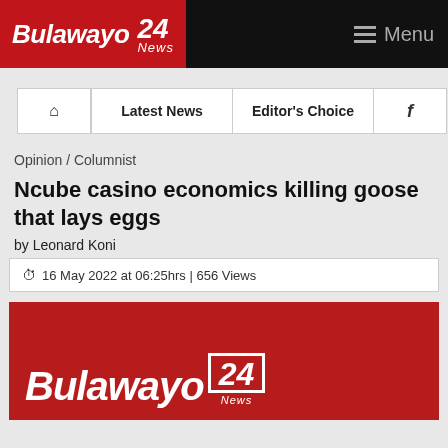Bulawayo 24 News | Menu
[Figure (screenshot): Navigation bar with home icon, Latest News, Editor's Choice, and Facebook icon links]
Opinion / Columnist
Ncube casino economics killing goose that lays eggs
by Leonard Koni
16 May 2022 at 06:25hrs | 656 Views
[Figure (logo): Bulawayo24 News logo on dark red background, large white italic text]